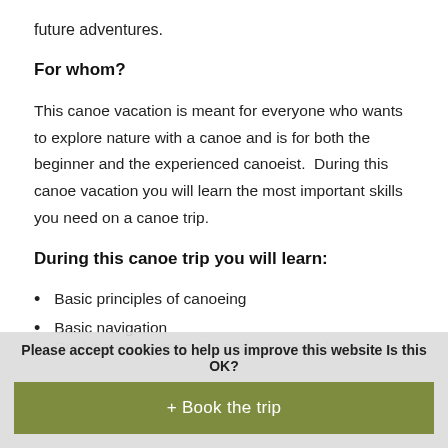future adventures.
For whom?
This canoe vacation is meant for everyone who wants to explore nature with a canoe and is for both the beginner and the experienced canoeist.  During this canoe vacation you will learn the most important skills you need on a canoe trip.
During this canoe trip you will learn:
Basic principles of canoeing
Basic navigation
Cooking on an open fire and a stove or burner
Please accept cookies to help us improve this website Is this OK?
+ Book the trip